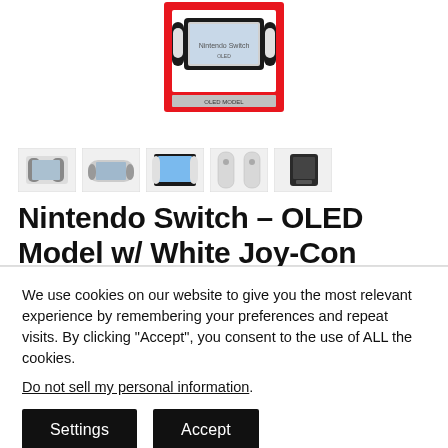[Figure (photo): Nintendo Switch OLED Model with White Joy-Con product box, partially visible at top of page]
[Figure (photo): Row of 5 product thumbnail images showing Nintendo Switch OLED from various angles: full set, handheld mode, screen close-up, Joy-Con controllers, dock]
Nintendo Switch – OLED Model w/ White Joy-Con
We use cookies on our website to give you the most relevant experience by remembering your preferences and repeat visits. By clicking “Accept”, you consent to the use of ALL the cookies.
Do not sell my personal information.
Settings
Accept